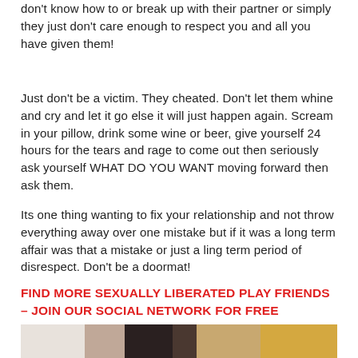don't know how to or break up with their partner or simply they just don't care enough to respect you and all you have given them!
Just don't be a victim. They cheated. Don't let them whine and cry and let it go else it will just happen again. Scream in your pillow, drink some wine or beer, give yourself 24 hours for the tears and rage to come out then seriously ask yourself WHAT DO YOU WANT moving forward then ask them.
Its one thing wanting to fix your relationship and not throw everything away over one mistake but if it was a long term affair was that a mistake or just a ling term period of disrespect. Don't be a doormat!
FIND MORE SEXUALLY LIBERATED PLAY FRIENDS – JOIN OUR SOCIAL NETWORK FOR FREE
[Figure (photo): A photo showing a person with curly hair, partially visible, with a light background and warm tones.]